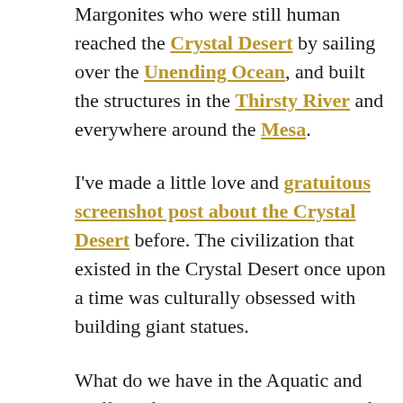Margonites who were still human reached the Crystal Desert by sailing over the Unending Ocean, and built the structures in the Thirsty River and everywhere around the Mesa.
I've made a little love and gratuitous screenshot post about the Crystal Desert before. The civilization that existed in the Crystal Desert once upon a time was culturally obsessed with building giant statues.
What do we have in the Aquatic and Cliffside fractal but a whole bunch of giant statues?